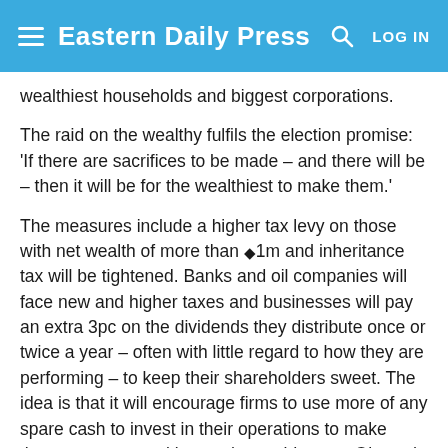Eastern Daily Press
wealthiest households and biggest corporations.
The raid on the wealthy fulfils the election promise: 'If there are sacrifices to be made – and there will be – then it will be for the wealthiest to make them.'
The measures include a higher tax levy on those with net wealth of more than ◆1m and inheritance tax will be tightened. Banks and oil companies will face new and higher taxes and businesses will pay an extra 3pc on the dividends they distribute once or twice a year – often with little regard to how they are performing – to keep their shareholders sweet. The idea is that it will encourage firms to use more of any spare cash to invest in their operations to make them more competitive on the world stage. Oh, and taxation on financial transactions will be doubled.